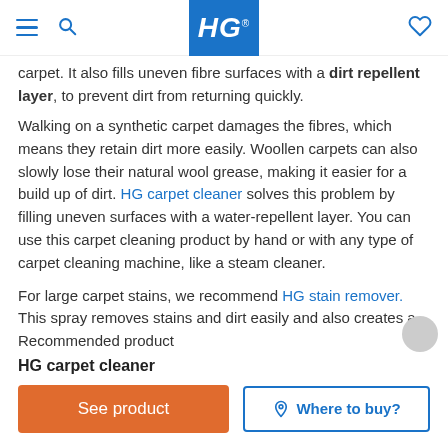HG (logo)
carpet. It also fills uneven fibre surfaces with a dirt repellent layer, to prevent dirt from returning quickly.
Walking on a synthetic carpet damages the fibres, which means they retain dirt more easily. Woollen carpets can also slowly lose their natural wool grease, making it easier for a build up of dirt. HG carpet cleaner solves this problem by filling uneven surfaces with a water-repellent layer. You can use this carpet cleaning product by hand or with any type of carpet cleaning machine, like a steam cleaner.
For large carpet stains, we recommend HG stain remover. This spray removes stains and dirt easily and also creates a Recommended product
HG carpet cleaner
See product
Where to buy?